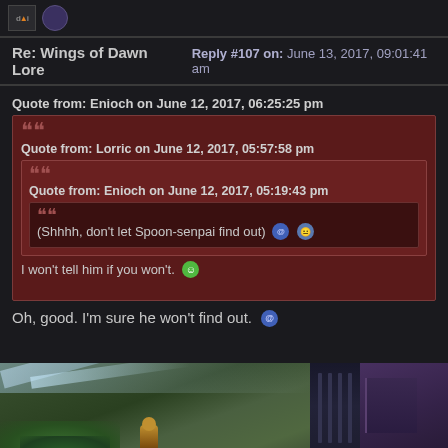Re: Wings of Dawn Lore   Reply #107 on: June 13, 2017, 09:01:41 am
Quote from: Enioch on June 12, 2017, 06:25:25 pm
Quote from: Lorric on June 12, 2017, 05:57:58 pm
Quote from: Enioch on June 12, 2017, 05:19:43 pm
(Shhhh, don't let Spoon-senpai find out)
I won't tell him if you won't.
Oh, good. I'm sure he won't find out.
[Figure (screenshot): Screenshot of a video game scene showing a rainy outdoor area with a character figure in the center, green foliage on the left, and a purple-toned building section on the right.]